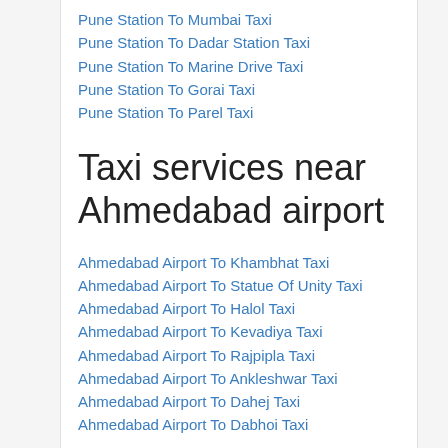Pune Station To Mumbai Taxi
Pune Station To Dadar Station Taxi
Pune Station To Marine Drive Taxi
Pune Station To Gorai Taxi
Pune Station To Parel Taxi
Taxi services near Ahmedabad airport
Ahmedabad Airport To Khambhat Taxi
Ahmedabad Airport To Statue Of Unity Taxi
Ahmedabad Airport To Halol Taxi
Ahmedabad Airport To Kevadiya Taxi
Ahmedabad Airport To Rajpipla Taxi
Ahmedabad Airport To Ankleshwar Taxi
Ahmedabad Airport To Dahej Taxi
Ahmedabad Airport To Dabhoi Taxi